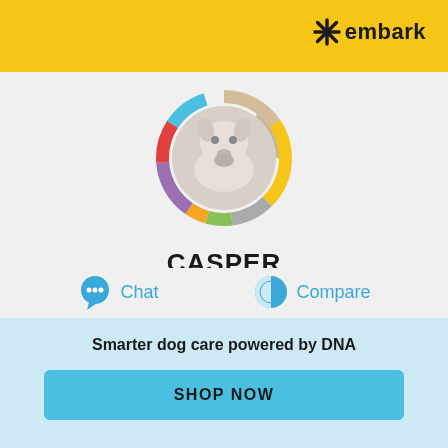embark
[Figure (illustration): Circular dog profile photo of Casper (white dog) surrounded by a multicolored ring (tan, yellow, gray, green, orange, purple, red, light blue segments)]
CASPER
Mixed Breed
Chat
Compare
Smarter dog care powered by DNA
SHOP NOW